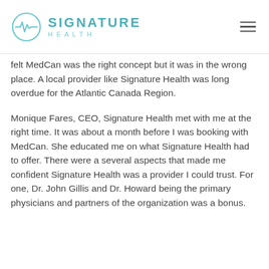SIGNATURE HEALTH
felt MedCan was the right concept but it was in the wrong place. A local provider like Signature Health was long overdue for the Atlantic Canada Region.
Monique Fares, CEO, Signature Health met with me at the right time. It was about a month before I was booking with MedCan. She educated me on what Signature Health had to offer. There were a several aspects that made me confident Signature Health was a provider I could trust. For one, Dr. John Gillis and Dr. Howard being the primary physicians and partners of the organization was a bonus.